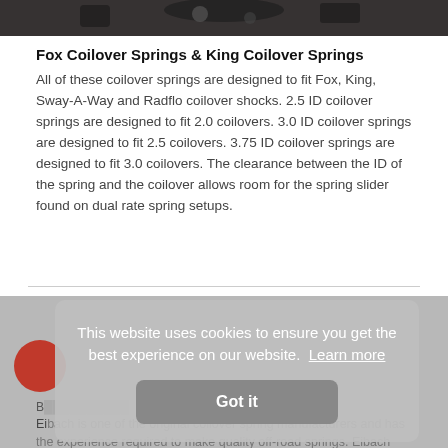[Figure (photo): Partial photo of coilover springs/shocks, dark tones, cropped at top of page]
Fox Coilover Springs & King Coilover Springs
All of these coilover springs are designed to fit Fox, King, Sway-A-Way and Radflo coilover shocks. 2.5 ID coilover springs are designed to fit 2.0 coilovers. 3.0 ID coilover springs are designed to fit 2.5 coilovers. 3.75 ID coilover springs are designed to fit 3.0 coilovers. The clearance between the ID of the spring and the coilover allows room for the spring slider found on dual rate spring setups.
[Figure (photo): Bottom section partial page with blurred background, red circle logo, brand name starting with 'Ei' (Eibach), and partial text about being one of the original coilover spring manufacturers]
This website uses cookies to ensure you get the best experience on our website.  Learn more
Got it